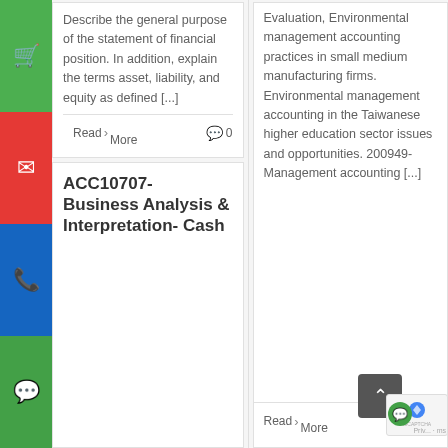Describe the general purpose of the statement of financial position. In addition, explain the terms asset, liability, and equity as defined [...]
Read More
0
ACC10707- Business Analysis & Interpretation- Cash
Evaluation, Environmental management accounting practices in small medium manufacturing firms. Environmental management accounting in the Taiwanese higher education sector issues and opportunities. 200949- Management accounting [...]
Read More
0